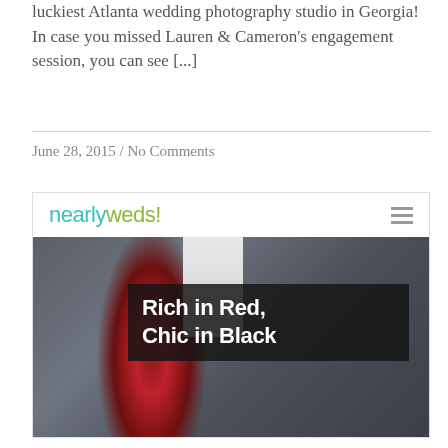luckiest Atlanta wedding photography studio in Georgia! In case you missed Lauren & Cameron's engagement session, you can see [...]
June 28, 2015 / No Comments
[Figure (screenshot): Screenshot of the nearlyweds! website showing a wedding photo of a groom in a gray suit with a red tie, overlaid with the text 'Rich in Red, Chic in Black']